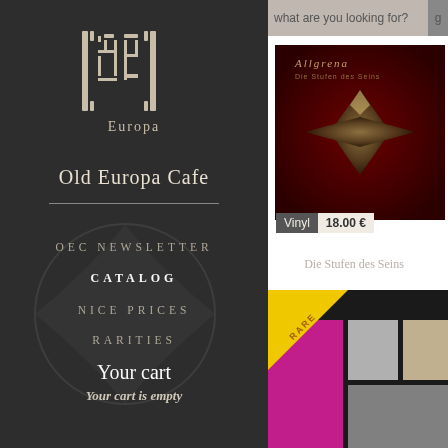[Figure (logo): Old Europa Cafe logo - stylized text art logo in white on dark background]
Old Europa Cafe
OEC NEWSLETTER
CATALOG
NICE PRICES
RARITIES
Your cart
Your cart is empty
what are you looking for?
[Figure (photo): Album cover for ALLGRENA - Die Stufen des Seins, dark red background with star/diamond shape]
Vinyl  18.00 €
ALLGRENA
Die Stufen des Seins
[Figure (photo): Bottom right product image with RARE ribbon/banner in yellow, showing partial images]